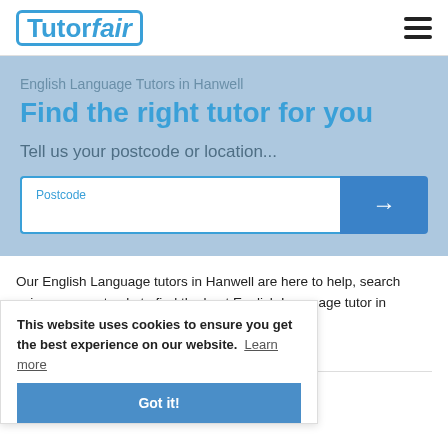Tutorfair
Find the right tutor for you
English Language Tutors in Hanwell
Tell us your postcode or location...
Postcode
Our English Language tutors in Hanwell are here to help, search using your postcode to find the best English Language tutor in Hanwell.
This website uses cookies to ensure you get the best experience on our website. Learn more
21 English Language Tutors in Hanwell
Got it!
Bozena F